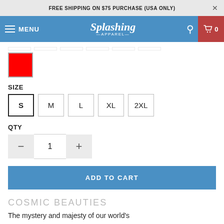FREE SHIPPING ON $75 PURCHASE (USA ONLY)
[Figure (screenshot): Navigation bar with hamburger menu icon, MENU text, Splashing Apparel logo, search icon, and cart button showing 0 items]
[Figure (other): Red color swatch selected from a color selector row]
SIZE
S  M  L  XL  2XL
QTY
— 1 +
ADD TO CART
COSMIC BEAUTIES
The mystery and majesty of our world's